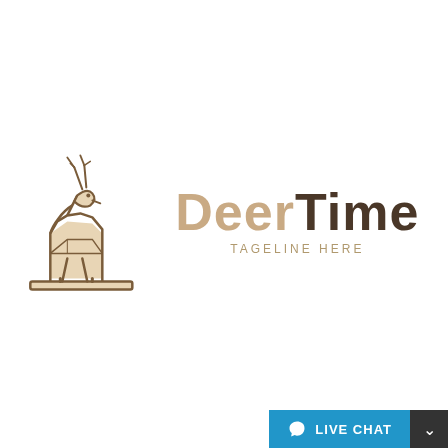[Figure (logo): Deer Time logo: a stylized deer silhouette standing on a platform (outline style, tan/beige fill with brown outline) on the left, and the text 'Deer Time' in large bold font (Deer in tan, Time in dark brown) with 'TAGELINE HERE' in small spaced tan uppercase letters below.]
LIVE CHAT